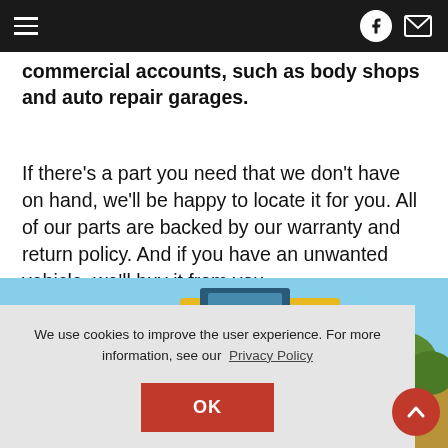[Navigation header with hamburger menu, Facebook icon, and envelope/mail icon]
commercial accounts, such as body shops and auto repair garages.
If there's a part you need that we don't have on hand, we'll be happy to locate it for you. All of our parts are backed by our warranty and return policy. And if you have an unwanted vehicle, we'll buy it from you.
[Figure (photo): Outdoor photo showing yellow heavy equipment/vehicle with a person wearing a yellow shirt sitting on it, blue sky in background]
We use cookies to improve the user experience. For more information, see our Privacy Policy
OK